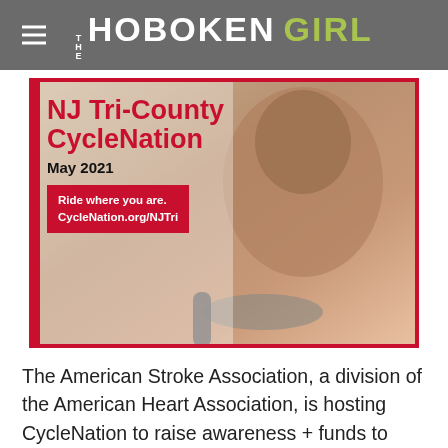THE HOBOKEN GIRL
[Figure (photo): Promotional image for NJ Tri-County CycleNation event in May 2021, showing a woman riding a stationary bike with text overlay: 'NJ Tri-County CycleNation May 2021 Ride where you are. CycleNation.org/NJTri']
The American Stroke Association, a division of the American Heart Association, is hosting CycleNation to raise awareness + funds to